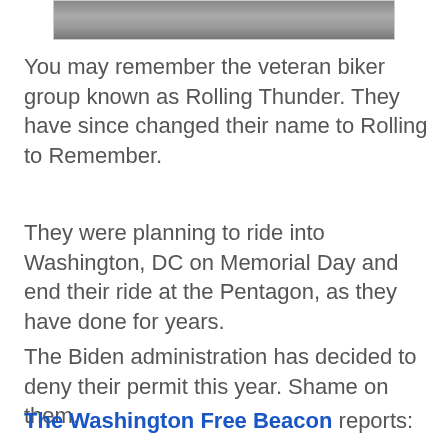[Figure (photo): Partial photo of bikers/motorcycles, cropped at top of page]
You may remember the veteran biker group known as Rolling Thunder. They have since changed their name to Rolling to Remember.
They were planning to ride into Washington, DC on Memorial Day and end their ride at the Pentagon, as they have done for years.
The Biden administration has decided to deny their permit this year. Shame on them.
The Washington Free Beacon reports: